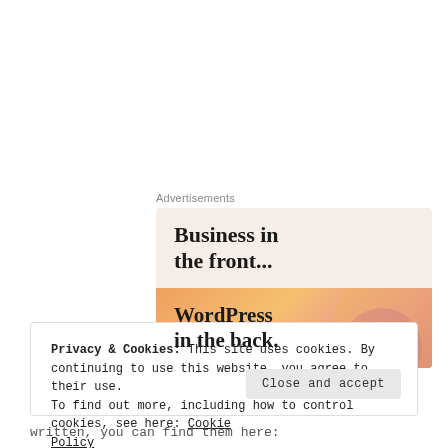Advertisements
[Figure (screenshot): WordPress advertisement banner: top half shows 'Business in the front...' on light beige/pink background; bottom half shows 'WordPress in the back.' on orange-peach gradient background with circular blob shapes.]
Privacy & Cookies: This site uses cookies. By continuing to use this website, you agree to their use.
To find out more, including how to control cookies, see here: Cookie Policy
written, you can find them here: